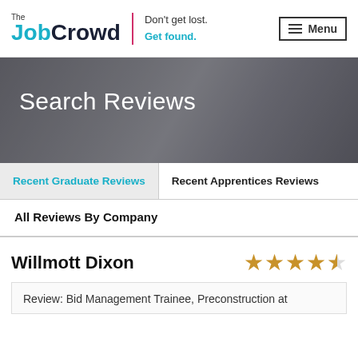[Figure (logo): The JobCrowd logo with tagline 'Don't get lost. Get found.' and Menu button]
[Figure (photo): Search Reviews hero banner with dark overlay over hands/workspace background]
Search Reviews
Recent Graduate Reviews
Recent Apprentices Reviews
All Reviews By Company
Willmott Dixon
Review: Bid Management Trainee, Preconstruction at